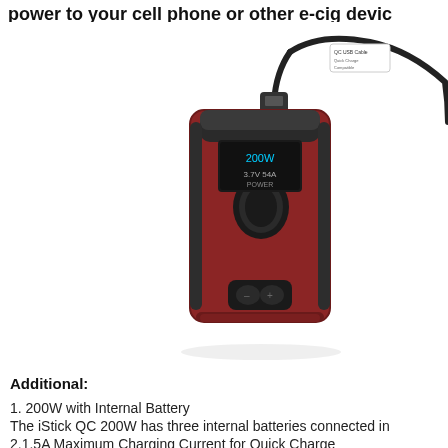power to your cell phone or other e-cig devic…
[Figure (photo): A dark red/maroon iStick QC 200W box mod vape device with black buttons, connected to a QC USB cable that extends to the upper right corner against a white background.]
Additional:
1. 200W with Internal Battery
The iStick QC 200W has three internal batteries connected in…
2.1.5A Maximum Charging Current for Quick Charge